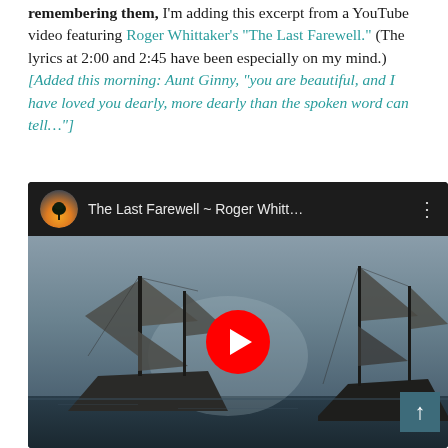remembering them, I'm adding this excerpt from a YouTube video featuring Roger Whittaker's "The Last Farewell." (The lyrics at 2:00 and 2:45 have been especially on my mind.) [Added this morning: Aunt Ginny, "you are beautiful, and I have loved you dearly, more dearly than the spoken word can tell..."]
[Figure (screenshot): YouTube video thumbnail showing 'The Last Farewell ~ Roger Whitt...' with a dark header bar, circular thumbnail of a tree at sunset, and a video still showing a sailing ship silhouette against a grey sky, with a red YouTube play button in the center.]